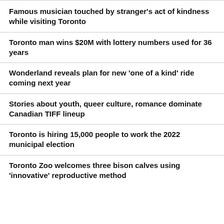Famous musician touched by stranger's act of kindness while visiting Toronto
Toronto man wins $20M with lottery numbers used for 36 years
Wonderland reveals plan for new 'one of a kind' ride coming next year
Stories about youth, queer culture, romance dominate Canadian TIFF lineup
Toronto is hiring 15,000 people to work the 2022 municipal election
Toronto Zoo welcomes three bison calves using 'innovative' reproductive method